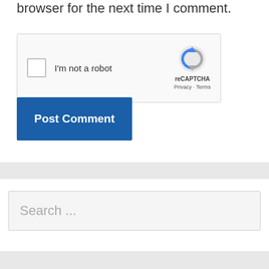browser for the next time I comment.
[Figure (screenshot): reCAPTCHA widget with checkbox labeled 'I'm not a robot' and reCAPTCHA logo with Privacy and Terms links]
Post Comment
Search ...